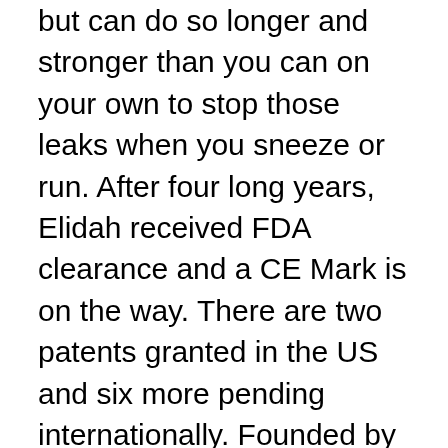but can do so longer and stronger than you can on your own to stop those leaks when you sneeze or run. After four long years, Elidah received FDA clearance and a CE Mark is on the way. There are two patents granted in the US and six more pending internationally. Founded by a team of engineers from MIT, Stanford and serial entrepreneurs in the medical device space, they have quickly developed and brought the device to clinical use to enter the $10B market. Elidah will improve the quality of life and reduce the need for surgery for tens of millions of women.